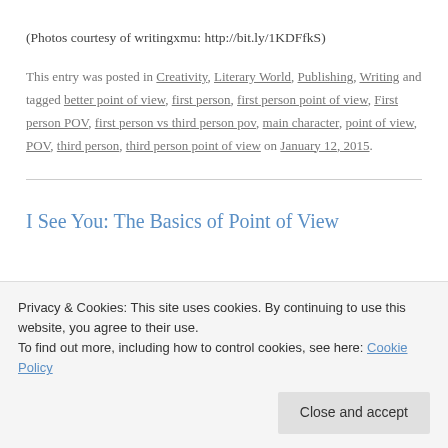(Photos courtesy of writingxmu: http://bit.ly/1KDFfkS)
This entry was posted in Creativity, Literary World, Publishing, Writing and tagged better point of view, first person, first person point of view, First person POV, first person vs third person pov, main character, point of view, POV, third person, third person point of view on January 12, 2015.
I See You: The Basics of Point of View
Privacy & Cookies: This site uses cookies. By continuing to use this website, you agree to their use.
To find out more, including how to control cookies, see here: Cookie Policy